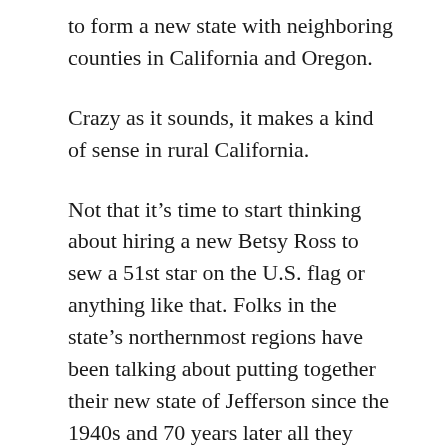to form a new state with neighboring counties in California and Oregon.
Crazy as it sounds, it makes a kind of sense in rural California.
Not that it’s time to start thinking about hiring a new Betsy Ross to sew a 51st star on the U.S. flag or anything like that. Folks in the state’s northernmost regions have been talking about putting together their new state of Jefferson since the 1940s and 70 years later all they have to show for it are a few green “double X” state flags, some T-shirts for sale and a website, www.jeffersonstate.com.
But in a state where the growing urban areas hold all the political clout, secession, unlikely as it is to ever happen, probably looks to be the only hope for the most rural corners of rural California.